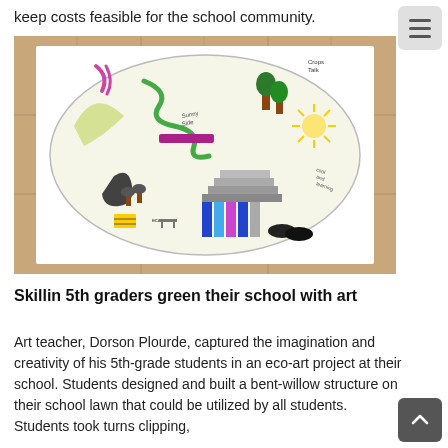keep costs feasible for the school community.
[Figure (photo): A student's hand-drawn eco-art map on white paper placed on a tiled floor. The oval-shaped drawing shows a colorful illustrated map of a school grounds with labeled areas, trees, paths, a willow structure, and various features drawn in colored pencil and marker.]
Skillin 5th graders green their school with art
Art teacher, Dorson Plourde, captured the imagination and creativity of his 5th-grade students in an eco-art project at their school. Students designed and built a bent-willow structure on their school lawn that could be utilized by all students. Students took turns clipping,